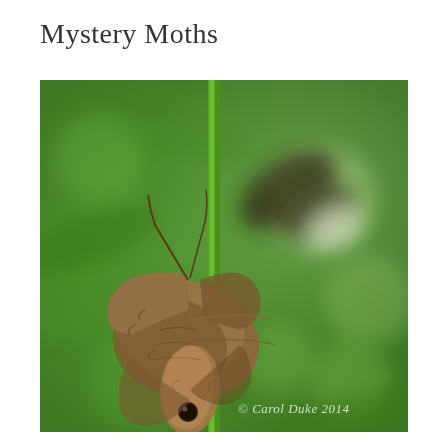Mystery Moths
[Figure (photo): Close-up macro photograph of two moths clinging to a green plant stem. The foreground moth is brown and fuzzy with detailed wing textures, shown nearly upside-down on the stem. A second moth is blurred in the background. The background is a soft green bokeh. A watermark reads '© Carol Duke 2014' in white italic text at the lower right.]